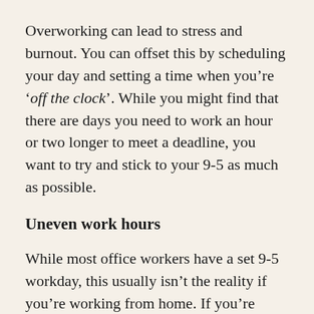Overworking can lead to stress and burnout. You can offset this by scheduling your day and setting a time when you're 'off the clock'. While you might find that there are days you need to work an hour or two longer to meet a deadline, you want to try and stick to your 9-5 as much as possible.
Uneven work hours
While most office workers have a set 9-5 workday, this usually isn't the reality if you're working from home. If you're working remotely, it's often the case that you'll work earlier in the morning or late into the evening. The difficulty with working from home is that it might take a larger portion of the...